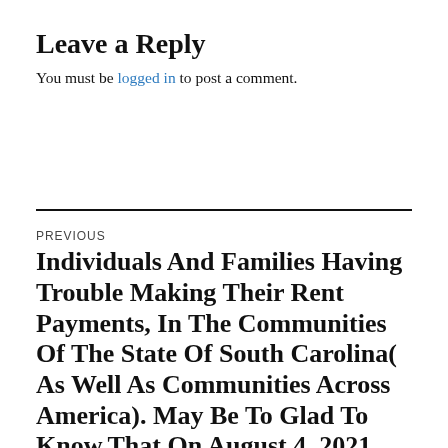Leave a Reply
You must be logged in to post a comment.
PREVIOUS
Individuals And Families Having Trouble Making Their Rent Payments, In The Communities Of The State Of South Carolina( As Well As Communities Across America). May Be To Glad To Know,That On August 4, 2021, The